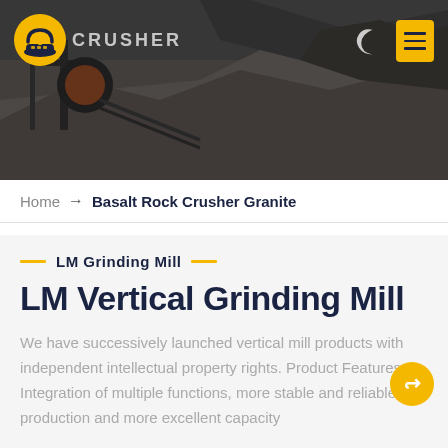[Figure (photo): Mining/crushing site background image with heavy machinery and rock formations, dark/grayish tones. Logo with yellow industrial icon and 'CRUSHER' text top left. Moon icon and yellow hamburger menu button top right.]
Home → Basalt Rock Crusher Granite
LM Grinding Mill
LM Vertical Grinding Mill
We have successively launched vertical mill products with independent intellectual property rights. Product Features: Integration of multiple functions, more stable and reliable production and more excellent capacity